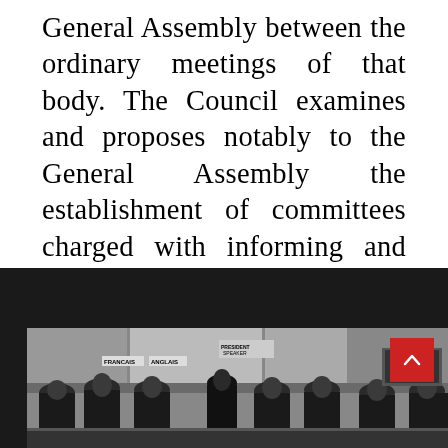General Assembly between the ordinary meetings of that body. The Council examines and proposes notably to the General Assembly the establishment of committees charged with informing and advising it in the various fields of activity of the Union.
[Figure (photo): Black and white photograph of a formal assembly or conference meeting room, showing people seated at tables with name placards including 'FRANCAIS', 'ANGLAIS', and 'PRESIDENT SPEAKER'. A red back-to-top button is overlaid in the upper right corner of the photo.]